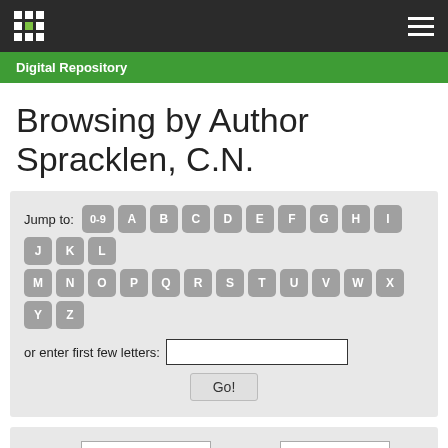Digital Repository
Browsing by Author Spracklen, C.N.
[Figure (screenshot): Jump-to alphabet navigation panel with letter buttons 0-9, A-Z, a text input field, and a Go! button]
[Figure (screenshot): Sort/filter controls: Sort by title dropdown, In order Ascending dropdown, Results/Page 20 dropdown, Authors/Record All dropdown, Update button]